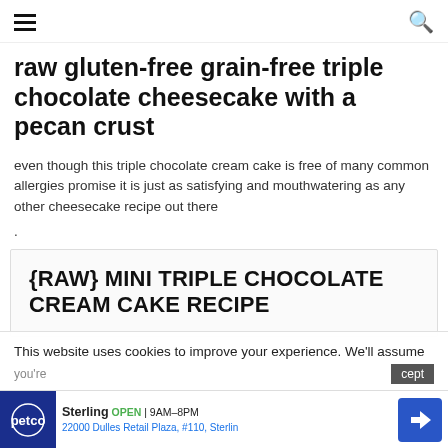≡  🔍
raw gluten-free grain-free triple chocolate cheesecake with a pecan crust
even though this triple chocolate cream cake is free of many common allergies promise it is just as satisfying and mouthwatering as any other cheesecake recipe out there
.
{RAW} MINI TRIPLE CHOCOLATE CREAM CAKE RECIPE
This website uses cookies to improve your experience. We'll assume you're ok with this, but you can opt-out if you wish. Accept
[Figure (advertisement): Petco ad: Sterling OPEN 9AM-8PM, 22000 Dulles Retail Plaza, #110, Sterling]